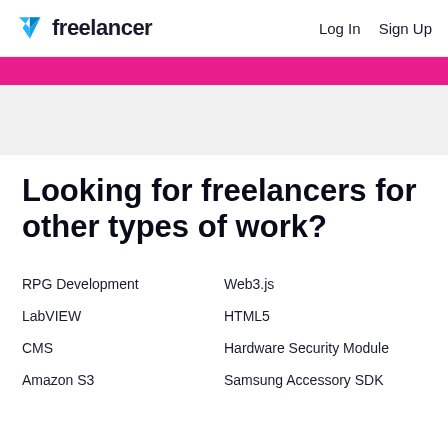Freelancer — Log In  Sign Up
Looking for freelancers for other types of work?
RPG Development
Web3.js
LabVIEW
HTML5
CMS
Hardware Security Module
Amazon S3
Samsung Accessory SDK